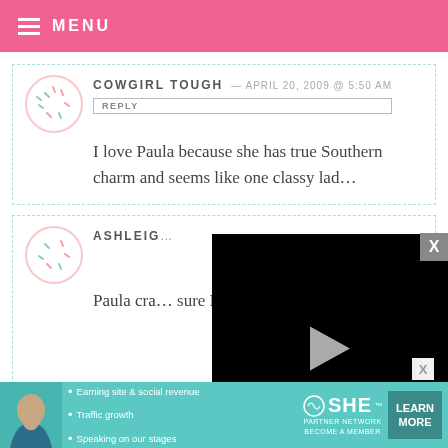MENU
COWGIRL TOUGH — APRIL 20, 2009 @ 5:50 AM
REPLY
I love Paula because she has true Southern charm and seems like one classy lad…
[Figure (screenshot): Embedded video player overlay showing a black video with a play button, progress bar at 0, time 13:52, and media controls.]
ASHLEIG… Paula cra… sure I'd learn a lot from her book!
[Figure (advertisement): SHE Partner Network ad banner with bullet points: Earning site & social revenue, Traffic growth, Speaking on our stages. LEARN MORE button.]